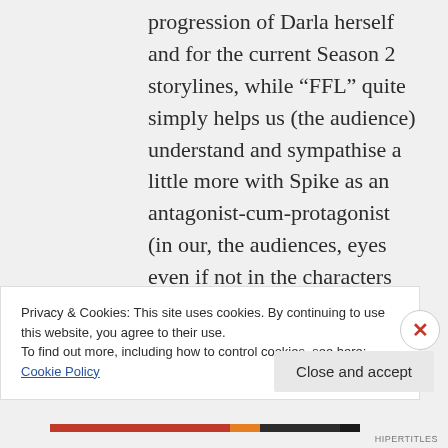progression of Darla herself and for the current Season 2 storylines, while “FFL” quite simply helps us (the audience) understand and sympathise a little more with Spike as an antagonist-cum-protagonist (in our, the audiences, eyes even if not in the characters eyes) and to ease that transition along
Privacy & Cookies: This site uses cookies. By continuing to use this website, you agree to their use.
To find out more, including how to control cookies, see here: Cookie Policy
HIPERTITLES